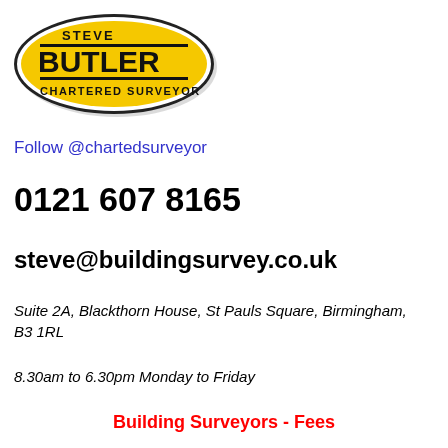[Figure (logo): Steve Butler Chartered Surveyor logo — yellow oval with black bold BUTLER text and thin lines]
Follow @chartedsurveyor
0121 607 8165
steve@buildingsurvey.co.uk
Suite 2A, Blackthorn House, St Pauls Square, Birmingham, B3 1RL
8.30am to 6.30pm Monday to Friday
Building Surveyors - Fees